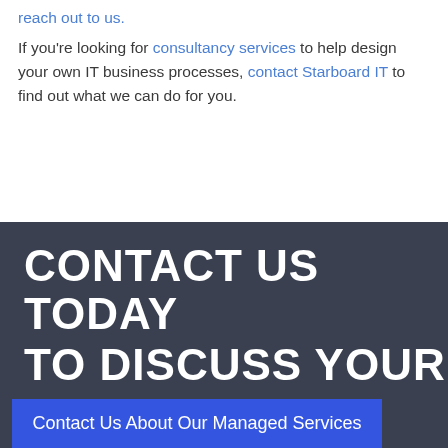reach out to us. If you're looking for consultancy services to help design your own IT business processes, contact Starboard IT to find out what we can do for you.
CONTACT US TODAY TO DISCUSS YOUR
Contact Us About Our Managed Services